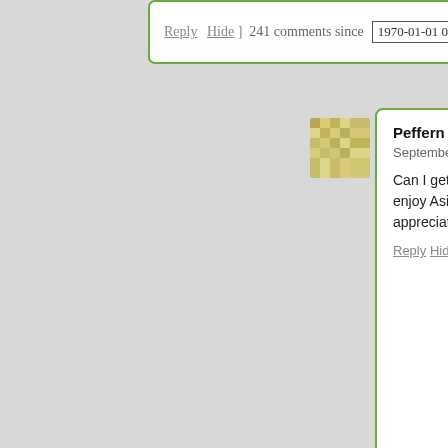Reply Hide ]  241 comments since  1970-01-01 00:0
[Figure (photo): User avatar for Peffern - yellow/tan mosaic pattern]
Peffern says: September 29, 2016 at 5:37 pm ~new~
Can I get a source for this quote? I know a comm enjoy Asimov, well-rounded educations, and pun appreciate this.
Reply Hide 1
[Figure (photo): User avatar for Alex Mennen - tan geometric/floral pattern]
Alex Mennen says: September 25, 2016 at 3:24 pm ~new~
A flip “around the horizontal axis” is a vertical flip: it leaves and flips everything else around it. Unless you were startin don’t think that’s what you meant.
Reply Hide
[Figure (photo): User avatar for Aran - cartoon character]
Aran says: